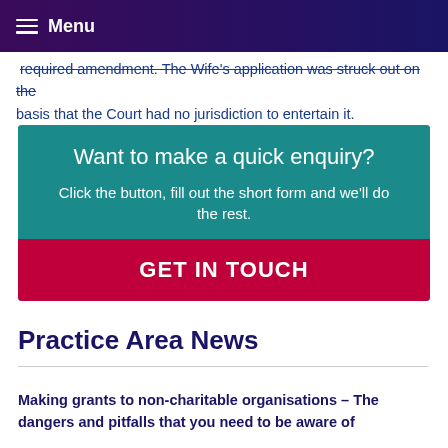Menu
required amendment. The Wife's application was struck out on the basis that the Court had no jurisdiction to entertain it.
[Figure (infographic): Teal call-to-action box with heading 'Want to make a quick enquiry?', subtext 'Click the button, fill out the short form and we'll do the rest.', and a red button labelled 'GET IN TOUCH']
Practice Area News
Making grants to non-charitable organisations – The dangers and pitfalls that you need to be aware of